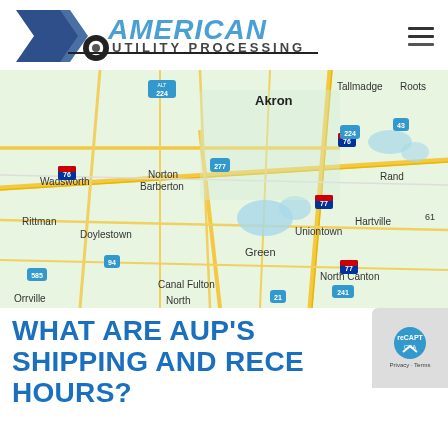[Figure (logo): American Utility Processing logo with stylized arrow/reel graphic and blue text]
[Figure (map): Google Maps screenshot showing Akron, Ohio area including Wadsworth, Norton, Barberton, Tallmadge, Green, Uniontown, Hartville, Canal Fulton, North Canton, Rittman, Doylestown, Orrville with highway markers 76, 77, 224, 277, 43, 94, 585, 241, 21]
WHAT ARE AUP'S SHIPPING AND RECEIVING HOURS?